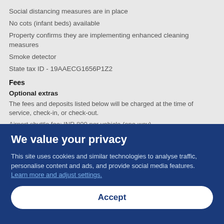Social distancing measures are in place
No cots (infant beds) available
Property confirms they are implementing enhanced cleaning measures
Smoke detector
State tax ID - 19AAECG1656P1Z2
Fees
Optional extras
The fees and deposits listed below will be charged at the time of service, check-in, or check-out.
Airport shuttle fee: INR 800 per vehicle (one-way)
We value your privacy
This site uses cookies and similar technologies to analyse traffic, personalise content and ads, and provide social media features. Learn more and adjust settings.
Accept